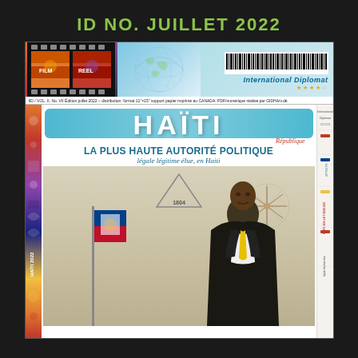ID NO. JUILLET 2022
[Figure (photo): Cover page of International Diplomat magazine - Haiti edition, July 2022. Features the title 'HAÏTI République' with subtitle 'LA PLUS HAUTE AUTORITÉ POLITIQUE légale légitime élue, en Haiti'. Shows a photo of a man in a suit with yellow tie standing next to the Haitian flag. Magazine header includes film strip imagery, globe, and barcode. Left side has colorful artistic strip. Right side has vertical French text.]
IID / VOL. II, No. VII Édition juillet 2022 – distribution: format 11"×15" support papier imprimé au CANADA. PDF/numérique réalisé par GIDHA/v.dé